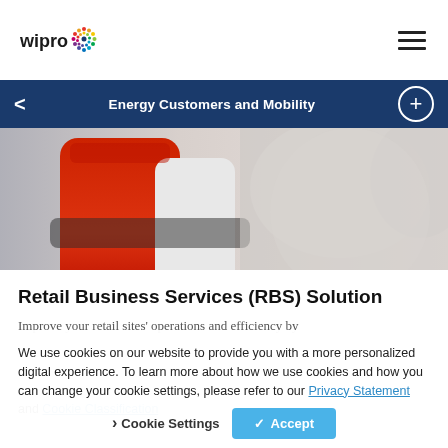Wipro logo and hamburger menu navigation
Energy Customers and Mobility
[Figure (photo): Close-up photo of red and white fuel pump nozzles at a retail fuel station]
Retail Business Services (RBS) Solution
Improve your retail sites' operations and efficiency by
We use cookies on our website to provide you with a more personalized digital experience. To learn more about how we use cookies and how you can change your cookie settings, please refer to our Privacy Statement and Cookie Classification
Cookie Settings  ✓ Accept